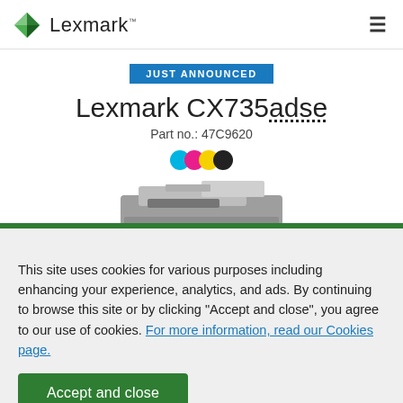Lexmark™
JUST ANNOUNCED
Lexmark CX735adse
Part no.: 47C9620
[Figure (illustration): Four CMYK color dots (cyan, magenta, yellow, black) and a partial image of a Lexmark CX735adse printer]
This site uses cookies for various purposes including enhancing your experience, analytics, and ads. By continuing to browse this site or by clicking "Accept and close", you agree to our use of cookies. For more information, read our Cookies page.
Accept and close